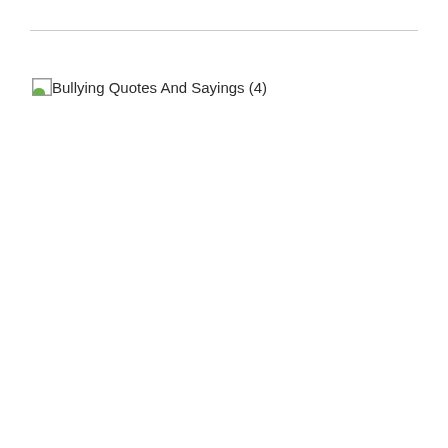[Figure (photo): Broken image placeholder with alt text: Bullying Quotes And Sayings (4)]